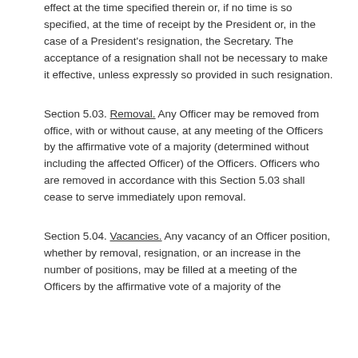effect at the time specified therein or, if no time is so specified, at the time of receipt by the President or, in the case of a President's resignation, the Secretary. The acceptance of a resignation shall not be necessary to make it effective, unless expressly so provided in such resignation.
Section 5.03. Removal. Any Officer may be removed from office, with or without cause, at any meeting of the Officers by the affirmative vote of a majority (determined without including the affected Officer) of the Officers. Officers who are removed in accordance with this Section 5.03 shall cease to serve immediately upon removal.
Section 5.04. Vacancies. Any vacancy of an Officer position, whether by removal, resignation, or an increase in the number of positions, may be filled at a meeting of the Officers by the affirmative vote of a majority of the